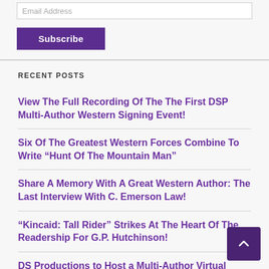Email Address
Subscribe
RECENT POSTS
View The Full Recording Of The The First DSP Multi-Author Western Signing Event!
Six Of The Greatest Western Forces Combine To Write “Hunt Of The Mountain Man”
Share A Memory With A Great Western Author: The Last Interview With C. Emerson Law!
“Kincaid: Tall Rider” Strikes At The Heart Of The Readership For G.P. Hutchinson!
DS Productions to Host a Multi-Author Virtual Signing Event